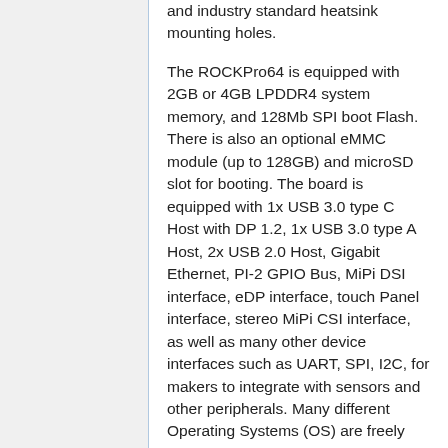and industry standard heatsink mounting holes.
The ROCKPro64 is equipped with 2GB or 4GB LPDDR4 system memory, and 128Mb SPI boot Flash. There is also an optional eMMC module (up to 128GB) and microSD slot for booting. The board is equipped with 1x USB 3.0 type C Host with DP 1.2, 1x USB 3.0 type A Host, 2x USB 2.0 Host, Gigabit Ethernet, PI-2 GPIO Bus, MiPi DSI interface, eDP interface, touch Panel interface, stereo MiPi CSI interface, as well as many other device interfaces such as UART, SPI, I2C, for makers to integrate with sensors and other peripherals. Many different Operating Systems (OS) are freely available from the open source community, such as Android, Linux (Ubuntu, Debian, Arch), and BSD.